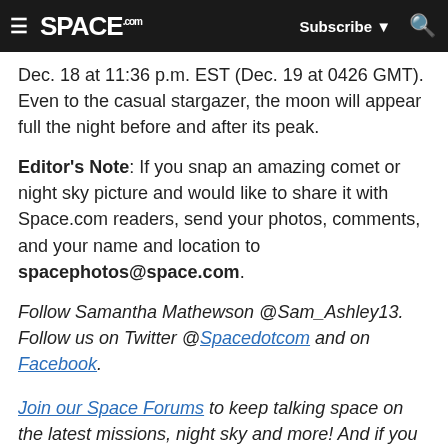≡  SPACE.com   Subscribe ▼  🔍
Dec. 18 at 11:36 p.m. EST (Dec. 19 at 0426 GMT). Even to the casual stargazer, the moon will appear full the night before and after its peak.
Editor's Note: If you snap an amazing comet or night sky picture and would like to share it with Space.com readers, send your photos, comments, and your name and location to spacephotos@space.com.
Follow Samantha Mathewson @Sam_Ashley13. Follow us on Twitter @Spacedotcom and on Facebook.
Join our Space Forums to keep talking space on the latest missions, night sky and more! And if you have a news tip, correction or comment, let us know at: